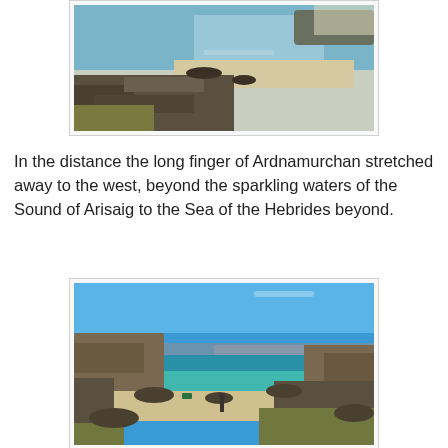[Figure (photo): Coastal scene showing turquoise and blue sea water with a sandy beach, rocky shoreline in the foreground, and a small island or headland in the background under hazy sky.]
In the distance the long finger of Ardnamurchan stretched away to the west, beyond the sparkling waters of the Sound of Arisaig to the Sea of the Hebrides beyond.
[Figure (photo): Scenic coastal photograph showing a clear blue sky, turquoise sea inlet with distant hills on the horizon, rocky shoreline with white sandy beach in the foreground, and a lone figure standing among the rocks.]